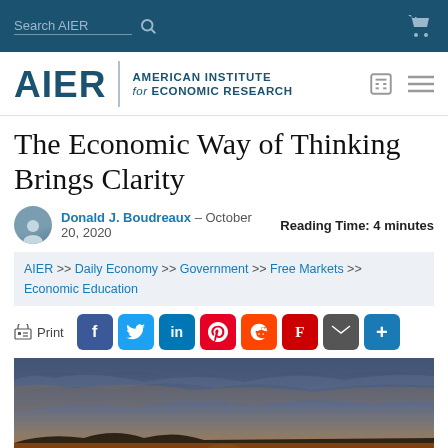Search AIER [search icon] [cart icon]
[Figure (logo): AIER | American Institute for Economic Research logo with calculator and menu icons]
The Economic Way of Thinking Brings Clarity
Donald J. Boudreaux – October 20, 2020   Reading Time: 4 minutes
AIER >> Daily Economy >> Government >> Free Markets >> Economic Education
Print [Facebook] [Twitter] [LinkedIn] [Pinterest] [Reddit] [Flipboard] [Email] [Share+]
[Figure (photo): Dramatic sunset landscape with clouds and sun rays over mountains]